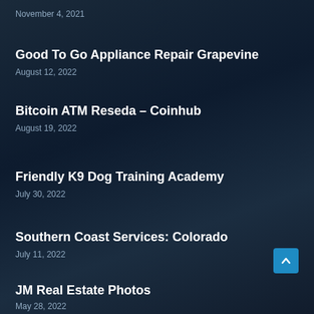November 4, 2021
Good To Go Appliance Repair Grapevine
August 12, 2022
Bitcoin ATM Reseda – Coinhub
August 19, 2022
Friendly K9 Dog Training Academy
July 30, 2022
Southern Coast Services: Colorado
July 11, 2022
JM Real Estate Photos
May 28, 2022